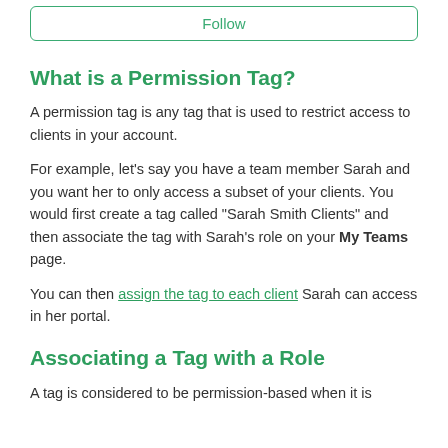Follow
What is a Permission Tag?
A permission tag is any tag that is used to restrict access to clients in your account.
For example, let's say you have a team member Sarah and you want her to only access a subset of your clients. You would first create a tag called "Sarah Smith Clients" and then associate the tag with Sarah's role on your My Teams page.
You can then assign the tag to each client Sarah can access in her portal.
Associating a Tag with a Role
A tag is considered to be permission-based when it is